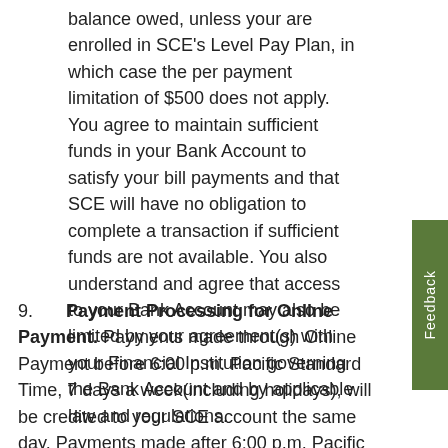balance owed, unless your are enrolled in SCE's Level Pay Plan, in which case the per payment limitation of $500 does not apply. You agree to maintain sufficient funds in your Bank Account to satisfy your bill payments and that SCE will have no obligation to complete a transaction if sufficient funds are not available. You also understand and agree that access to your Bank Account may also be limited by your agreement(s) with your Financial Institution governing the Bank Account and by applicable law and regulations.
9. Payment Processing for Online Payment. Payments made through Online Payment before 6:00 p.m. Pacific Standard Time, 7 days a week(including holidays), will be credited to your SCE account the same day. Payments made after 6:00 p.m. Pacific Standard Time, will be credited to your account the following day. You are solely responsible for making payments sufficiently prior to